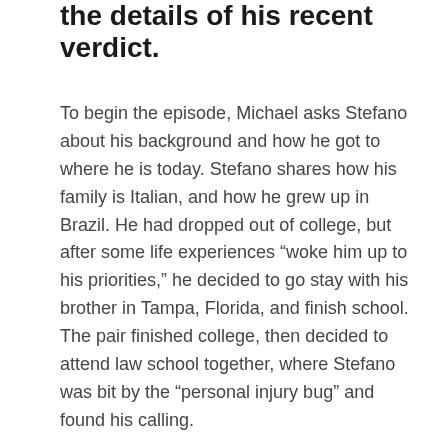the details of his recent verdict.
To begin the episode, Michael asks Stefano about his background and how he got to where he is today. Stefano shares how his family is Italian, and how he grew up in Brazil. He had dropped out of college, but after some life experiences “woke him up to his priorities,” he decided to go stay with his brother in Tampa, Florida, and finish school. The pair finished college, then decided to attend law school together, where Stefano was bit by the “personal injury bug” and found his calling.
His family runs multiple businesses out of Orlando, including a Human Behavioral Research Group. It